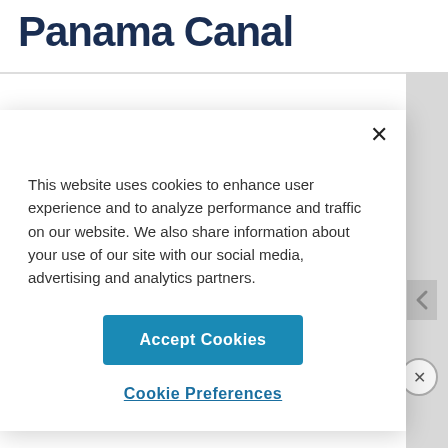Panama Canal
This website uses cookies to enhance user experience and to analyze performance and traffic on our website. We also share information about your use of our site with our social media, advertising and analytics partners.
Accept Cookies
Cookie Preferences
ADVERTISEMENT
By proceeding, you agree to our Privacy Policy and Terms of Use.